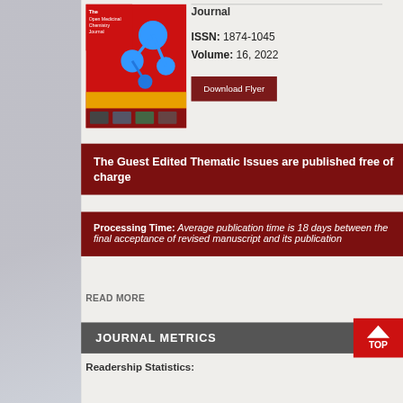[Figure (illustration): Cover of The Open Medicinal Chemistry Journal — red background with blue molecular structures and yellow/orange horizontal bar]
Journal
ISSN: 1874-1045
Volume: 16, 2022
Download Flyer
The Guest Edited Thematic Issues are published free of charge
Processing Time: Average publication time is 18 days between the final acceptance of revised manuscript and its publication
READ MORE
JOURNAL METRICS
Readership Statistics: